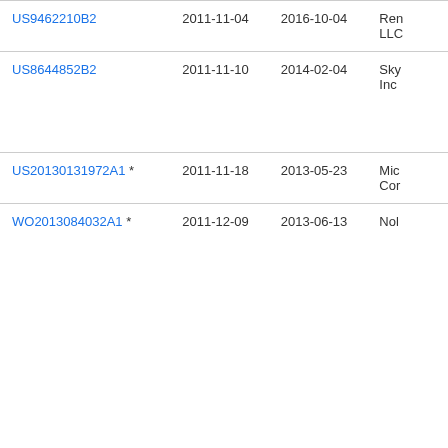| Patent | Filed | Published | Assignee |
| --- | --- | --- | --- |
| US9462210B2 | 2011-11-04 | 2016-10-04 | Ren LLC |
| US8644852B2 | 2011-11-10 | 2014-02-04 | Sky Inc |
| US20130131972A1 * | 2011-11-18 | 2013-05-23 | Mic Cor |
| WO2013084032A1 * | 2011-12-09 | 2013-06-13 | Nol |